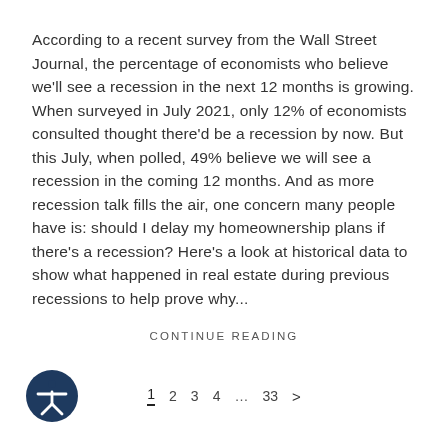According to a recent survey from the Wall Street Journal, the percentage of economists who believe we'll see a recession in the next 12 months is growing. When surveyed in July 2021, only 12% of economists consulted thought there'd be a recession by now. But this July, when polled, 49% believe we will see a recession in the coming 12 months. And as more recession talk fills the air, one concern many people have is: should I delay my homeownership plans if there's a recession? Here's a look at historical data to show what happened in real estate during previous recessions to help prove why...
CONTINUE READING
1  2  3  4  ...  33  >